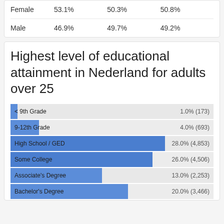|  |  |  |  |
| --- | --- | --- | --- |
| Female | 53.1% | 50.3% | 50.8% |
| Male | 46.9% | 49.7% | 49.2% |
Highest level of educational attainment in Nederland for adults over 25
[Figure (bar-chart): Highest level of educational attainment in Nederland for adults over 25]